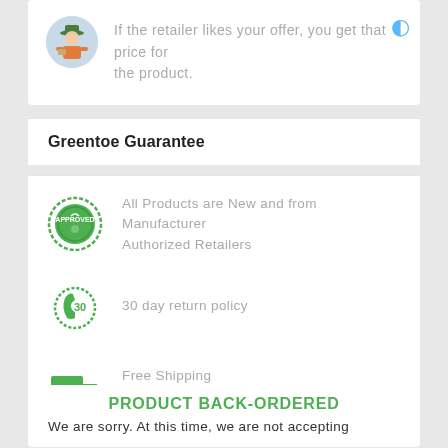If the retailer likes your offer, you get that price for the product.
Greentoe Guarantee
All Products are New and from Manufacturer Authorized Retailers
30 day return policy
Free Shipping
No Additional Fees
PRODUCT BACK-ORDERED
We are sorry. At this time, we are not accepting